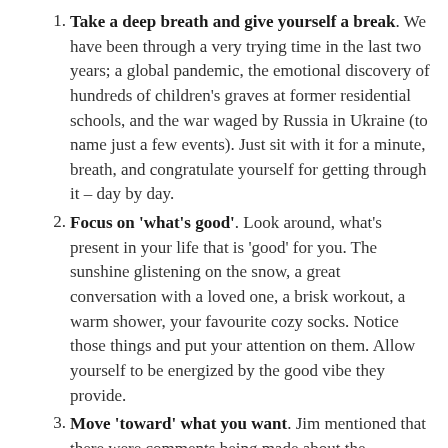Take a deep breath and give yourself a break. We have been through a very trying time in the last two years; a global pandemic, the emotional discovery of hundreds of children's graves at former residential schools, and the war waged by Russia in Ukraine (to name just a few events). Just sit with it for a minute, breath, and congratulate yourself for getting through it – day by day.
Focus on 'what's good'. Look around, what's present in your life that is 'good' for you. The sunshine glistening on the snow, a great conversation with a loved one, a brisk workout, a warm shower, your favourite cozy socks. Notice those things and put your attention on them. Allow yourself to be energized by the good vibe they provide.
Move 'toward' what you want. Jim mentioned that there were comments being made about the